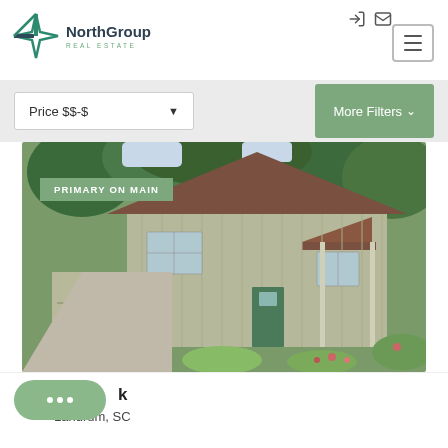NorthGroup Real Estate
Price $$-$
More Filters
[Figure (photo): Exterior photo of a two-story house with brown metal roof, light green/gray vertical siding, covered front porch, surrounded by green trees and landscaping. Badge reading PRIMARY ON MAIN overlaid on top-left of image.]
PRIMARY ON MAIN
Landrum, SC